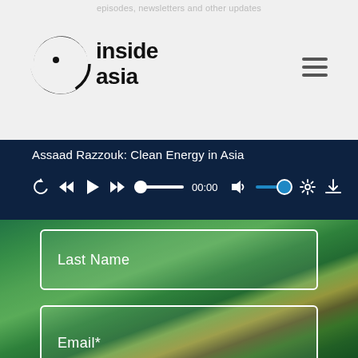episodes, newsletters and other updates
[Figure (logo): Inside Asia podcast logo — circular icon with dot and C-shape arc, followed by 'inside asia' text in bold]
Assaad Razzouk: Clean Energy in Asia
[Figure (screenshot): Audio player controls: replay, rewind, play, fast-forward, progress bar, time 00:00, volume, settings, download]
[Figure (photo): Green terraced rice paddies on mountain hillsides with form overlay including Last Name field, Email* field, and Subscribe button]
Last Name
Email*
Subscribe